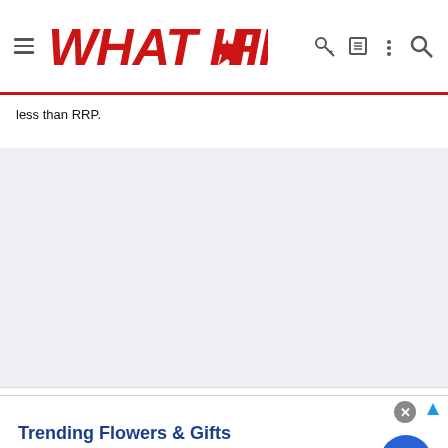WHAT HI-FI?
less than RRP.
[Figure (other): Large gray content/advertisement placeholder area]
[Figure (other): Advertisement banner: Trending Flowers & Gifts – Shop The Collection – www.1800flowers.com]